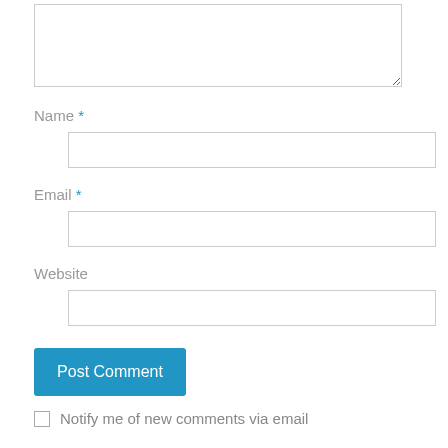[Figure (screenshot): A comment form section showing a textarea (partially visible at top), followed by Name, Email, and Website label-input pairs, a blue Post Comment button, and a checkbox row at the bottom reading 'Notify me of new comments via email']
Name *
Email *
Website
Post Comment
Notify me of new comments via email